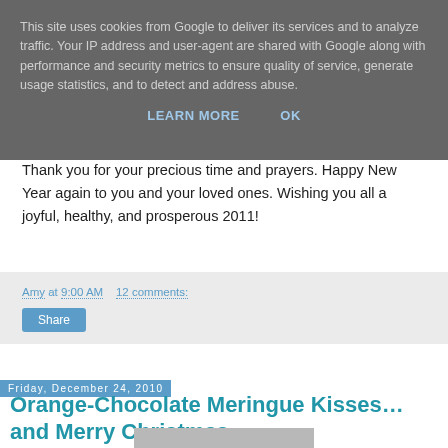This site uses cookies from Google to deliver its services and to analyze traffic. Your IP address and user-agent are shared with Google along with performance and security metrics to ensure quality of service, generate usage statistics, and to detect and address abuse.
LEARN MORE    OK
Thank you for your precious time and prayers. Happy New Year again to you and your loved ones. Wishing you all a joyful, healthy, and prosperous 2011!
Amy at 9:00 AM    12 comments:
Share
Friday, December 24, 2010
Orange-Chocolate Meringue Kisses… and Merry Christmas
[Figure (photo): Partial photograph visible at bottom of page, appears to be food-related image]